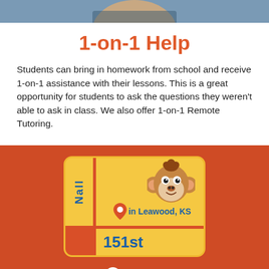[Figure (photo): Cropped photo of a person at the top of the page]
1-on-1 Help
Students can bring in homework from school and receive 1-on-1 assistance with their lessons. This is a great opportunity for students to ask the questions they weren't able to ask in class. We also offer 1-on-1 Remote Tutoring.
[Figure (logo): Street sign style logo showing 'Nall' vertically, a monkey mascot, 'in Leawood, KS' text with location pin icon, and '151st' on the bottom sign bar, all in yellow/red/blue colors]
Map
15061 Nall Ave, Leawood, KS 66223